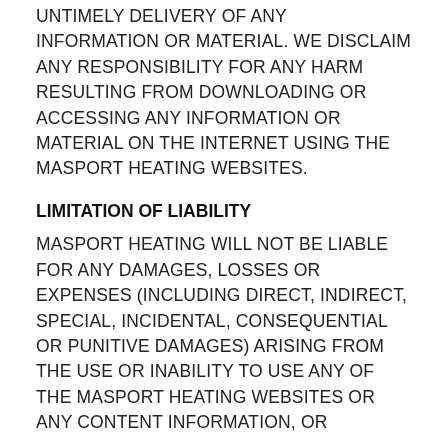UNTIMELY DELIVERY OF ANY INFORMATION OR MATERIAL. WE DISCLAIM ANY RESPONSIBILITY FOR ANY HARM RESULTING FROM DOWNLOADING OR ACCESSING ANY INFORMATION OR MATERIAL ON THE INTERNET USING THE MASPORT HEATING WEBSITES.
LIMITATION OF LIABILITY
MASPORT HEATING WILL NOT BE LIABLE FOR ANY DAMAGES, LOSSES OR EXPENSES (INCLUDING DIRECT, INDIRECT, SPECIAL, INCIDENTAL, CONSEQUENTIAL OR PUNITIVE DAMAGES) ARISING FROM THE USE OR INABILITY TO USE ANY OF THE MASPORT HEATING WEBSITES OR ANY CONTENT INFORMATION, OR